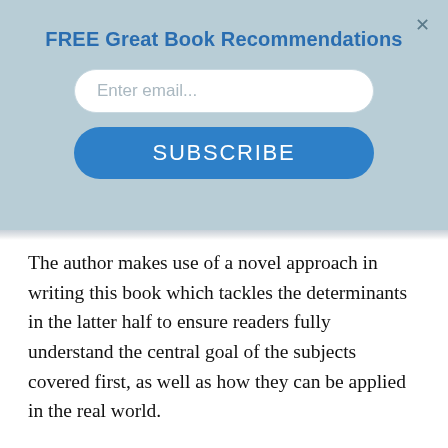FREE Great Book Recommendations
[Figure (screenshot): Email subscription modal with email input field and SUBSCRIBE button on a light blue background with a close (×) button in the top right corner.]
The author makes use of a novel approach in writing this book which tackles the determinants in the latter half to ensure readers fully understand the central goal of the subjects covered first, as well as how they can be applied in the real world.
Furthermore, Linear Algebra Done Right takes